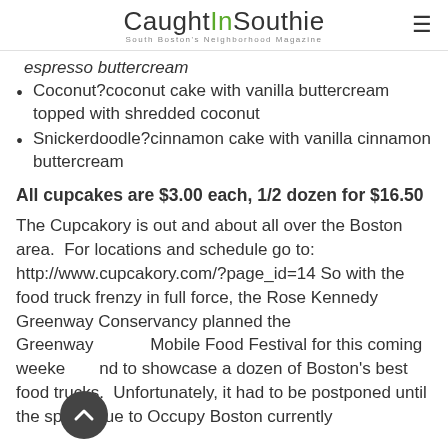CaughtInSouthie — South Boston's Neighborhood Magazine
espresso buttercream
Coconut?coconut cake with vanilla buttercream topped with shredded coconut
Snickerdoodle?cinnamon cake with vanilla cinnamon buttercream
All cupcakes are $3.00 each, 1/2 dozen for $16.50
The Cupcakory is out and about all over the Boston area.  For locations and schedule go to: http://www.cupcakory.com/?page_id=14
So with the food truck frenzy in full force, the Rose Kennedy Greenway Conservancy planned the Greenway Mobile Food Festival for this coming weekend to showcase a dozen of Boston's best food trucks.  Unfortunately, it had to be postponed until the spring due to Occupy Boston currently